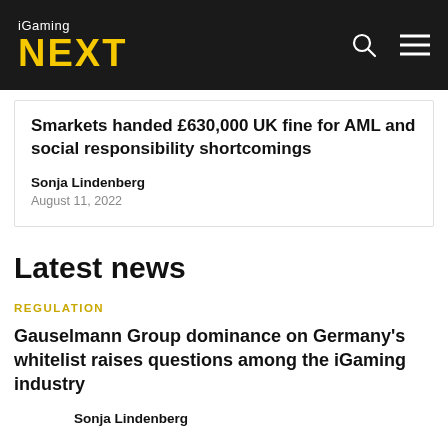iGaming NEXT
Smarkets handed £630,000 UK fine for AML and social responsibility shortcomings
Sonja Lindenberg
August 11, 2022
Latest news
REGULATION
Gauselmann Group dominance on Germany's whitelist raises questions among the iGaming industry
Sonja Lindenberg